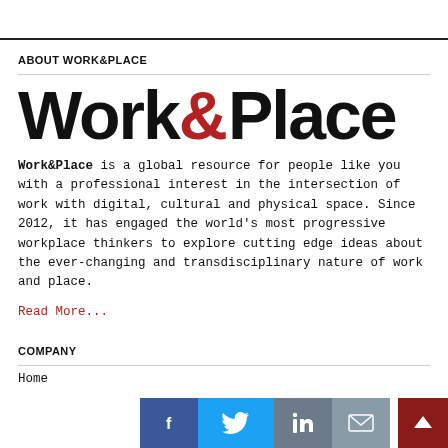ABOUT WORK&PLACE
[Figure (logo): Work&Place logo in large bold black text with red ampersand]
Work&Place is a global resource for people like you with a professional interest in the intersection of work with digital, cultural and physical space. Since 2012, it has engaged the world's most progressive workplace thinkers to explore cutting edge ideas about the ever-changing and transdisciplinary nature of work and place.
Read More...
COMPANY
Home
[Figure (infographic): Social sharing bar with Facebook, Twitter, LinkedIn, and email icons, plus a dark red back-to-top arrow button]